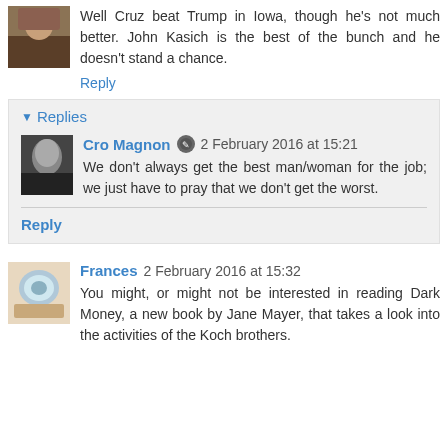Well Cruz beat Trump in Iowa, though he's not much better. John Kasich is the best of the bunch and he doesn't stand a chance.
Reply
▾ Replies
Cro Magnon 2 February 2016 at 15:21
We don't always get the best man/woman for the job; we just have to pray that we don't get the worst.
Reply
Frances 2 February 2016 at 15:32
You might, or might not be interested in reading Dark Money, a new book by Jane Mayer, that takes a look into the activities of the Koch brothers.